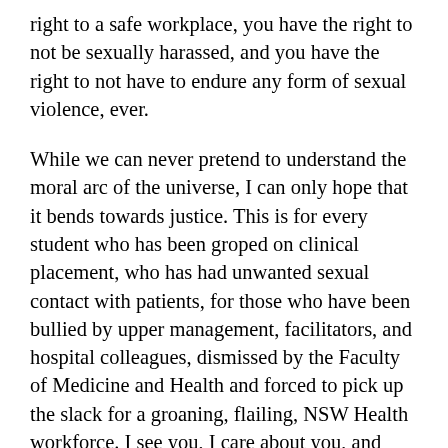right to a safe workplace, you have the right to not be sexually harassed, and you have the right to not have to endure any form of sexual violence, ever.
While we can never pretend to understand the moral arc of the universe, I can only hope that it bends towards justice. This is for every student who has been groped on clinical placement, who has had unwanted sexual contact with patients, for those who have been bullied by upper management, facilitators, and hospital colleagues, dismissed by the Faculty of Medicine and Health and forced to pick up the slack for a groaning, flailing, NSW Health workforce. I see you, I care about you, and your safety matters to me.